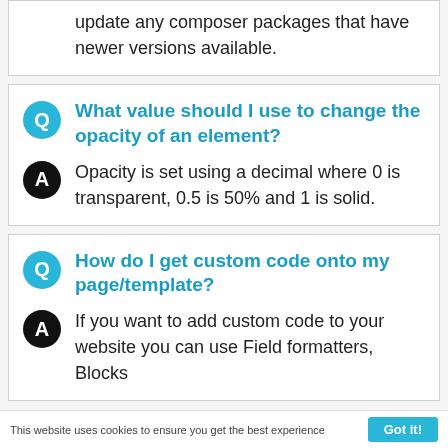update any composer packages that have newer versions available.
Q: What value should I use to change the opacity of an element?
Opacity is set using a decimal where 0 is transparent, 0.5 is 50% and 1 is solid.
Q: How do I get custom code onto my page/template?
If you want to add custom code to your website you can use Field formatters, Blocks
This website uses cookies to ensure you get the best experience   Got it!